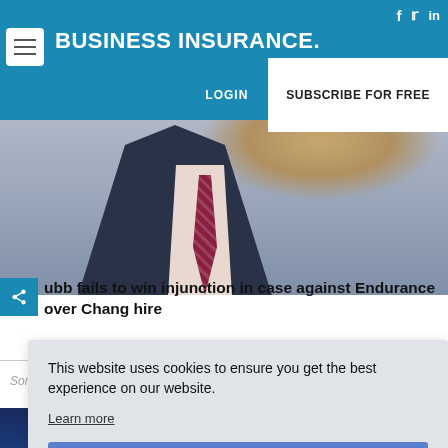BUSINESS INSURANCE.
LOGIN   SUBSCRIBE FOR FREE
[Figure (photo): Man in dark pinstripe suit with patterned tie, wood paneling in background]
Chubb fails to win injunction in case against Endurance over Chang hire
Sompo Holdings completes takeover of Endurance Specialty
This website uses cookies to ensure you get the best experience on our website. Learn more Got it!